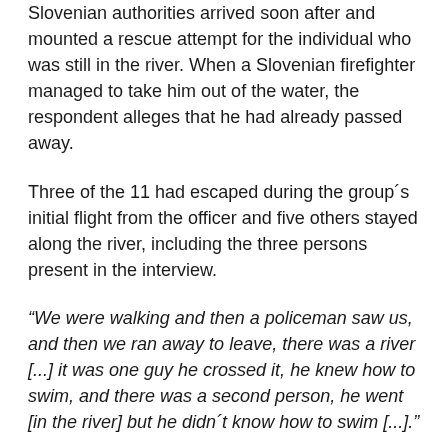Slovenian authorities arrived soon after and mounted a rescue attempt for the individual who was still in the river. When a Slovenian firefighter managed to take him out of the water, the respondent alleges that he had already passed away.
Three of the 11 had escaped during the group´s initial flight from the officer and five others stayed along the river, including the three persons present in the interview.
“We were walking and then a policeman saw us, and then we ran away to leave, there was a river [...] it was one guy he crossed it, he knew how to swim, and there was a second person, he went [in the river] but he didn´t know how to swim [...].”
The now seven of them had to enter two different